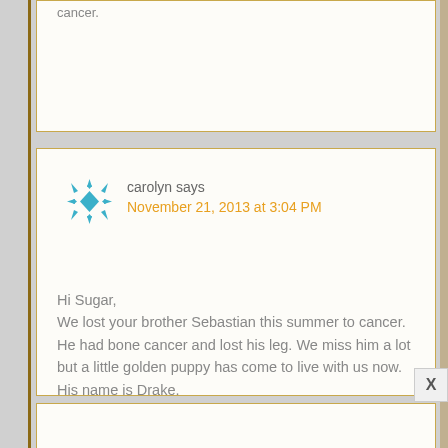cancer.
carolyn says
November 21, 2013 at 3:04 PM
[Figure (illustration): Teal/blue decorative snowflake or geometric avatar icon]
Hi Sugar,
We lost your brother Sebastian this summer to cancer. He had bone cancer and lost his leg. We miss him a lot but a little golden puppy has come to live with us now. His name is Drake.